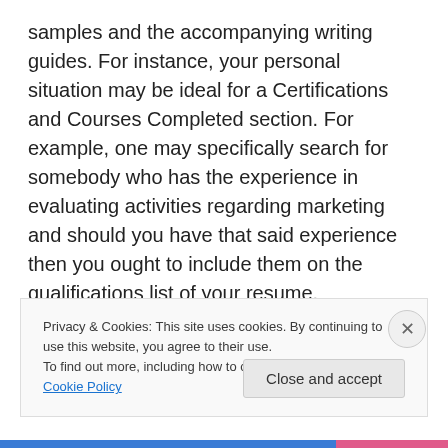samples and the accompanying writing guides. For instance, your personal situation may be ideal for a Certifications and Courses Completed section. For example, one may specifically search for somebody who has the experience in evaluating activities regarding marketing and should you have that said experience then you ought to include them on the qualifications list of your resume.
Folks often speak about good resumes and resume-writing abilities, but you could be intrigued as to what's a
Privacy & Cookies: This site uses cookies. By continuing to use this website, you agree to their use.
To find out more, including how to control cookies, see here: Cookie Policy